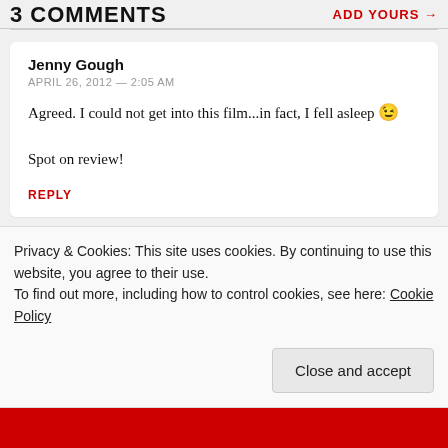3 COMMENTS   ADD YOURS →
Jenny Gough
APRIL 26, 2012 — 2:05 AM

Agreed. I could not get into this film...in fact, I fell asleep 😉

Spot on review!

REPLY
Privacy & Cookies: This site uses cookies. By continuing to use this website, you agree to their use.
To find out more, including how to control cookies, see here: Cookie Policy

Close and accept